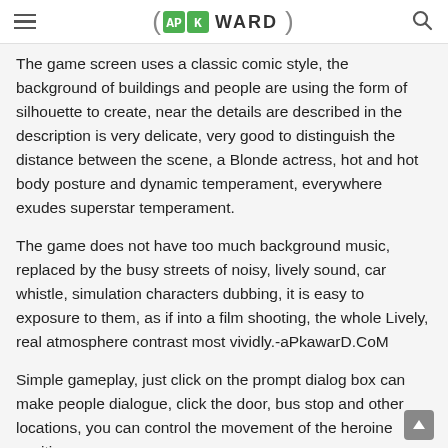APKaWARD
The game screen uses a classic comic style, the background of buildings and people are using the form of silhouette to create, near the details are described in the description is very delicate, very good to distinguish the distance between the scene, a Blonde actress, hot and hot body posture and dynamic temperament, everywhere exudes superstar temperament.
The game does not have too much background music, replaced by the busy streets of noisy, lively sound, car whistle, simulation characters dubbing, it is easy to exposure to them, as if into a film shooting, the whole Lively, real atmosphere contrast most vividly.-aPkawarD.CoM
Simple gameplay, just click on the prompt dialog box can make people dialogue, click the door, bus stop and other locations, you can control the movement of the heroine position.
Imagination is always beautiful, the reality is always cruel, so we are still in the game to experience the life of a superstar, to fight more practical, where we want to start working from the star before the debut, step by step arranged for her Activities, hype,